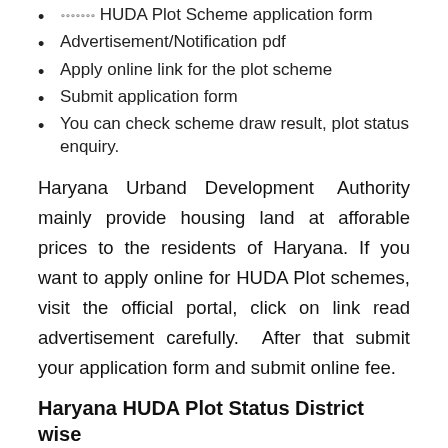॰॰॰॰॰॰॰ HUDA Plot Scheme application form
Advertisement/Notification pdf
Apply online link for the plot scheme
Submit application form
You can check scheme draw result, plot status enquiry.
Haryana Urband Development Authority mainly provide housing land at afforable prices to the residents of Haryana. If you want to apply online for HUDA Plot schemes, visit the official portal, click on link read advertisement carefully. After that submit your application form and submit online fee.
Haryana HUDA Plot Status District wise